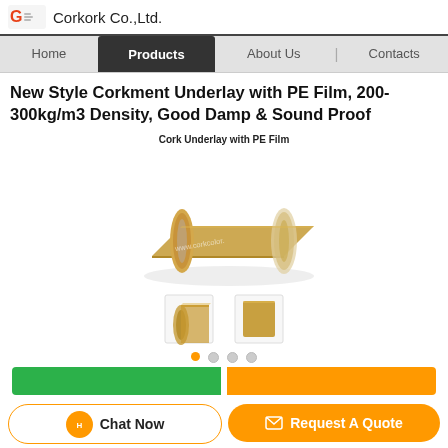Corkork Co.,Ltd.
Home  Products  About Us  Contacts
New Style Corkment Underlay with PE Film, 200-300kg/m3 Density, Good Damp & Sound Proof
[Figure (photo): Cork Underlay with PE Film product photo showing a rolled cork underlay sheet and two flat samples, with watermark www.corkcolor.]
Chat Now   Request A Quote